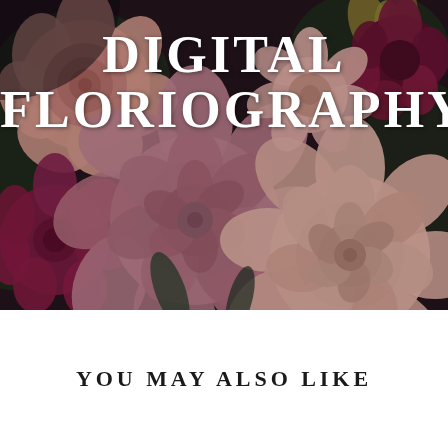[Figure (photo): Dark moody photograph of a lush floral arrangement featuring pink and mauve ranunculus, deep burgundy carnations or garden roses, and other mixed blooms against a dark background. The flowers fill the entire image with rich colors of blush pink, dusty rose, deep magenta, and dark green foliage.]
DIGITAL FLORIOGRAPHY
YOU MAY ALSO LIKE